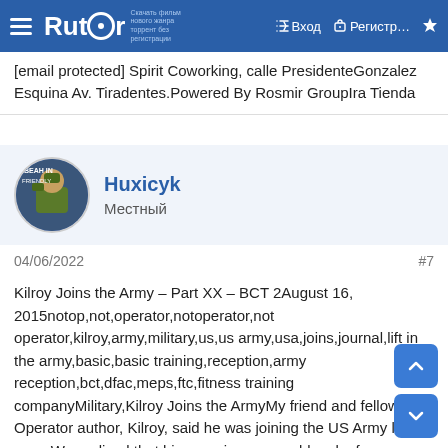Rutor — Вход — Регистр...
[email protected] Spirit Coworking, calle PresidenteGonzalez Esquina Av. Tiradentes.Powered By Rosmir GroupIra Tienda
Huxicyk
Местный
04/06/2022
#7
Kilroy Joins the Army – Part XX – BCT 2August 16, 2015notop,not,operator,notoperator,not operator,kilroy,army,military,us,us army,usa,joins,journal,lift in the army,basic,basic training,reception,army reception,bct,dfac,meps,ftc,fitness training companyMilitary,Kilroy Joins the ArmyMy friend and fellow Not Operator author, Kilroy, said he was joining the US Army last year. We realized that his experiences would make for an interesting read, especially when there are so few online writings about what it is like, emotionally and physically, to